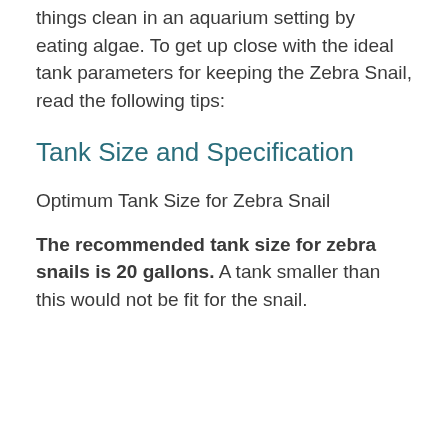things clean in an aquarium setting by eating algae. To get up close with the ideal tank parameters for keeping the Zebra Snail, read the following tips:
Tank Size and Specification
Optimum Tank Size for Zebra Snail
The recommended tank size for zebra snails is 20 gallons. A tank smaller than this would not be fit for the snail.